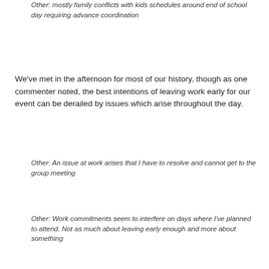Other: mostly family conflicts with kids schedules around end of school day requiring advance coordination
We've met in the afternoon for most of our history, though as one commenter noted, the best intentions of leaving work early for our event can be derailed by issues which arise throughout the day.
Other: An issue at work arises that I have to resolve and cannot get to the group meeting
Other: Work commitments seem to interfere on days where I've planned to attend. Not as much about leaving early enough and more about something